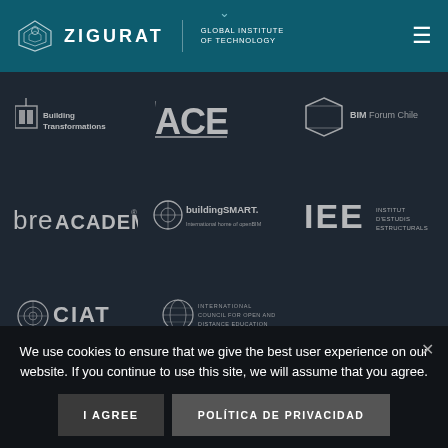[Figure (logo): Zigurat Global Institute of Technology logo with navigation header on teal background]
[Figure (infographic): Partner logos grid: Building Transformations, ACE, BIM Forum Chile, bre ACADEMY, buildingSMART, IEE Institut d'Estudis Estructurals, CIAT, ICDE International Council for Open and Distance Education]
We use cookies to ensure that we give the best user experience on our website. If you continue to use this site, we will assume that you agree.
I AGREE
POLÍTICA DE PRIVACIDAD